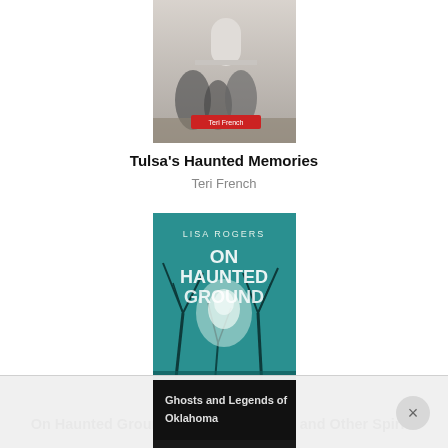[Figure (photo): Book cover for Tulsa's Haunted Memories by Teri French - black and white cemetery photograph with gravestone]
Tulsa's Haunted Memories
Teri French
[Figure (photo): Book cover for On Haunted Ground: The Green Ghost and Other Spirits of Cemetery Road by Lisa Rogers - teal/green background with bare trees and ghostly face]
On Haunted Ground: The Green Ghost and Other Spirits of Cemetery Road
Lisa Rogers
[Figure (photo): Partial book cover for Ghosts and Legends of Oklahoma - dark background with white text]